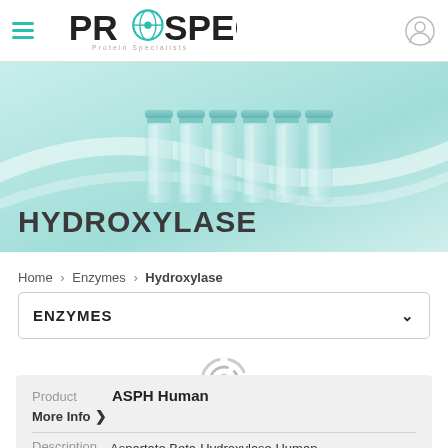PROSPEC Protein Specialists
[Figure (photo): Hero banner showing six glass laboratory vials/bottles with teal caps on a teal/white background, with the word HYDROXYLASE overlaid in large dark text.]
Home > Enzymes > Hydroxylase
ENZYMES
[Figure (other): Gray circular loading spinner icon]
| Product | ASPH Human |
| More Info |  |
| Description | Aspartate Beta-Hydroxylase Human Recombinant |